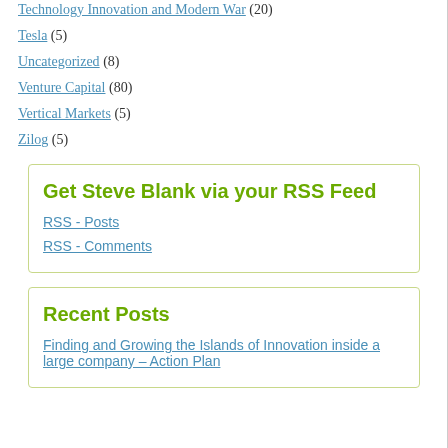Technology Innovation and Modern War (20)
Tesla (5)
Uncategorized (8)
Venture Capital (80)
Vertical Markets (5)
Zilog (5)
Get Steve Blank via your RSS Feed
RSS - Posts
RSS - Comments
Recent Posts
Finding and Growing the Islands of Innovation inside a large company – Action Plan
efficient.
Like
Reply
thebusinesstherapist, on December 7, 2020 a
Thank you speaking your truth! More peopl
Like
Reply
Michael B Fraser, on December 7, 2020 at 6:1
Thank you for your past contributions to hel serve the citizens and help position us to re world not only in defense, but also the intelli Please standby because I suspect the next
Like
Reply
Gerald Goldstein, on December 7, 2020 at 6:1
Congratulations for taking a stance for justic affiliation. When integrity is lost, so goes mo